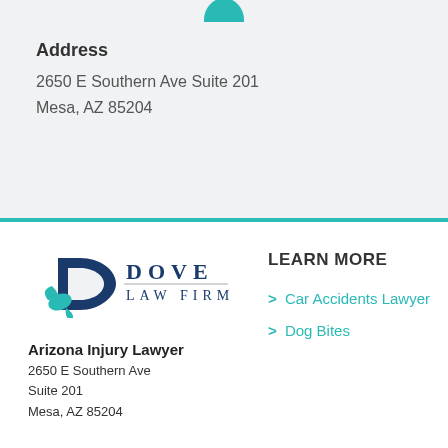[Figure (logo): Partial teal location pin/map icon at top center, cropped]
Address
2650 E Southern Ave Suite 201
Mesa, AZ 85204
[Figure (logo): Dove Law Firm logo with teal dove bird and dark blue D letter, text reading DOVE LAW FIRM]
Arizona Injury Lawyer
2650 E Southern Ave
Suite 201
Mesa, AZ 85204
LEARN MORE
Car Accidents Lawyer
Dog Bites